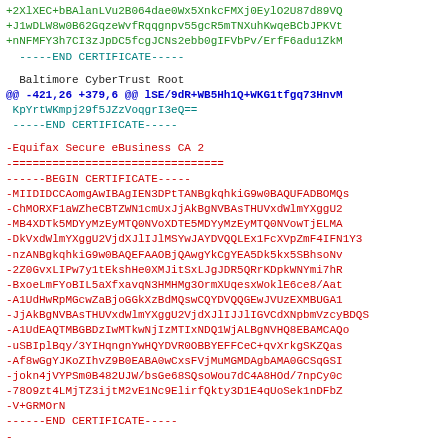+2XlXEC+bBAlanLVu2B064dae0Wx5XnkcFMXj0EylO2U87d89VQ
+J1wDLW8w0B62GqzeWvfRqqgnpv55gcR5mTNXuhKwqeBCbJPKVt
+nNFMFY3h7CI3zJpDC5fcgJCNs2ebb0gIFVbPv/ErfF6adu1ZkM
-----END CERTIFICATE-----
Baltimore CyberTrust Root
@@ -421,26 +379,6 @@ lSE/9dR+WB5Hh1Q+WKG1tfgq73HnvM
KpYrtWKmpj29f5JZzVoqgrI3eQ==
 -----END CERTIFICATE-----
-Equifax Secure eBusiness CA 2
-================================
-----BEGIN CERTIFICATE-----
-MIIDIDCCAomgAwIBAgIEN3DPtTANBgkqhkiG9w0BAQUFADBOMQs
-ChMORXF1aWZheCBTZWN1cmUxJjAkBgNVBAsTHUVxdWlmYXggU2
-MB4XDTk5MDYyMzEyMTQ0NVoXDTE5MDYyMzEyMTQ0NVowTjELMA
-DkVxdWlmYXggU2VjdXJlIJlMSYwJAYDVQQLEx1FcXVpZmF4IFN1Y3
-nzANBgkqhkiG9w0BAQEFAAOBjQAwgYkCgYEA5Dk5kx5SBhsoNv
-2Z0GvxLIPw7y1tEkshHe0XMJitSxLJgJDR5QRrKDpkWNYmi7hR
-BxoeLmFYoBIL5aXfxavqN3HMHMg3OrmXUqesxWoklE6ce8/Aat
-A1UdHwRpMGcwZaBjoGGkXzBdMQswCQYDVQQGEwJVUzEXMBUGA1
-JjAkBgNVBAsTHUVxdWlmYXggU2VjdXJlIJJlIGVCdXNpbmVzcyBDQS
-A1UdEAQTMBGBDzIwMTkwNjIzMTIxNDQ1WjALBgNVHQ8EBAMCAQo
-uSBIplBqy/3YIHqngnYwHQYDVR0OBBYEFFCeC+qvXrkgSKZQas
-Af8wGgYJKoZIhvZ9B0EABA0wCxsFVjMuMGMDAgbAMA0GCSqGSI
-jokn4jVYPSm0B482UJW/bsGe68SQsoWou7dC4A8HOd/7npCy0c
-78O9zt4LMjTZ3ijtM2vE1Nc9ElirfQkty3D1E4qUoSek1nDFbZ
-V+GRMOrN
-----END CERTIFICATE-----
-